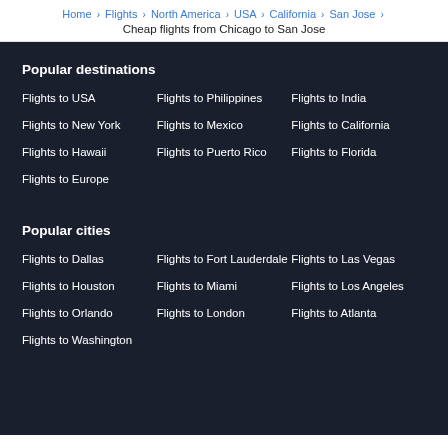Home › Flights › North America › USA › California › San Jose ›
Cheap flights from Chicago to San Jose
Popular destinations
Flights to USA
Flights to Philippines
Flights to India
Flights to New York
Flights to Mexico
Flights to California
Flights to Hawaii
Flights to Puerto Rico
Flights to Florida
Flights to Europe
Popular cities
Flights to Dallas
Flights to Fort Lauderdale
Flights to Las Vegas
Flights to Houston
Flights to Miami
Flights to Los Angeles
Flights to Orlando
Flights to London
Flights to Atlanta
Flights to Washington